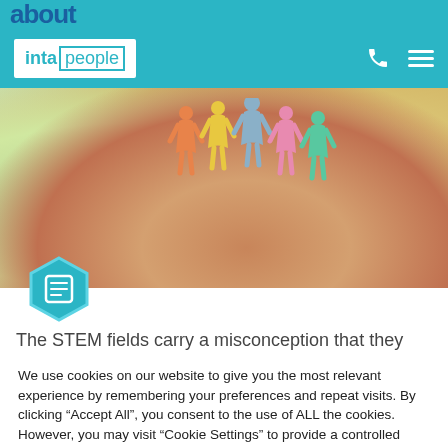about
[Figure (logo): intapeople logo on teal navigation bar with phone icon and hamburger menu]
[Figure (photo): A hand holding colorful paper cutout human figures against a soft bokeh background]
[Figure (illustration): Teal hexagon icon with a document/newspaper symbol]
The STEM fields carry a misconception that they
We use cookies on our website to give you the most relevant experience by remembering your preferences and repeat visits. By clicking “Accept All”, you consent to the use of ALL the cookies. However, you may visit “Cookie Settings” to provide a controlled consent.
Cookie Settings | Accept All